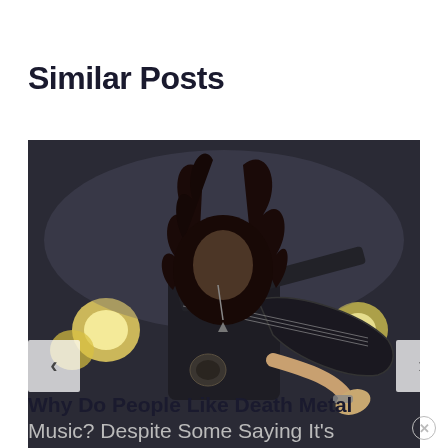Similar Posts
[Figure (photo): A metal guitarist performing on stage with long hair flying, wearing a studded denim vest, playing a black and white electric guitar. Stage lights visible in background.]
Why Do People Like Death Metal Music? Despite Some Saying It's